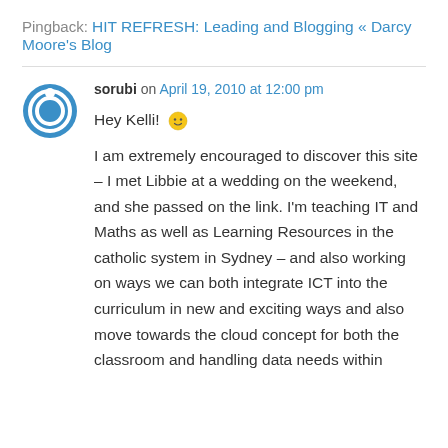Pingback: HIT REFRESH: Leading and Blogging « Darcy Moore's Blog
sorubi on April 19, 2010 at 12:00 pm
Hey Kelli! 🙂 I am extremely encouraged to discover this site – I met Libbie at a wedding on the weekend, and she passed on the link. I'm teaching IT and Maths as well as Learning Resources in the catholic system in Sydney – and also working on ways we can both integrate ICT into the curriculum in new and exciting ways and also move towards the cloud concept for both the classroom and handling data needs within